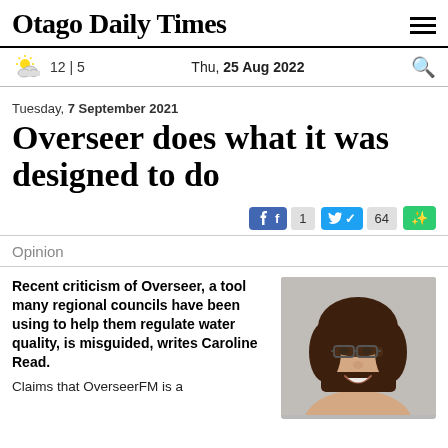Otago Daily Times
12 | 5   Thu, 25 Aug 2022
Tuesday, 7 September 2021
Overseer does what it was designed to do
Facebook 1   Twitter 64
Opinion
Recent criticism of Overseer, a tool many regional councils have been using to help them regulate water quality, is misguided, writes Caroline Read. Claims that OverseerFM is a
[Figure (photo): Headshot of Caroline Read, a woman with dark brown hair, glasses, smiling]